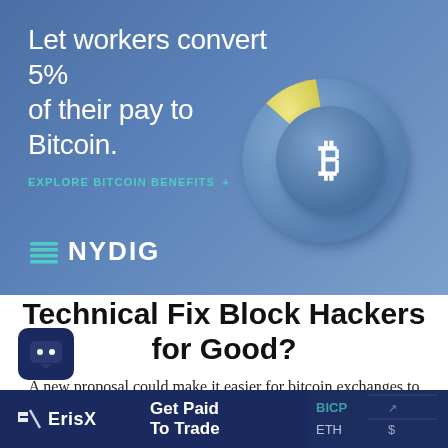[Figure (infographic): NYDIG advertisement banner with blue gradient background. Headline: 'Let workers convert 5% of their pay to Bitcoin.' with 'EXPLORE BITCOIN BENEFITS +' CTA in teal. A donut chart showing a small yellow slice (~20%) and large blue slice (~80%) with a Bitcoin logo (₿) in the center. NYDIG logo at bottom left with teal stacked-lines icon.]
Technical Fix Block Hackers for Good?
A new proposal could make it easier for bitcoin exchanges to guard against hacks, but key challenges around enacting the change are slowing
[Figure (infographic): ErisX advertisement banner at the bottom. Dark navy background with ErisX logo on left and 'Get Paid To Trade' tagline in white bold text. Right side shows a blurred financial chart overlay.]